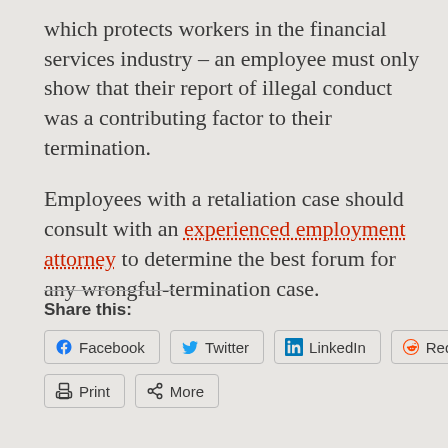which protects workers in the financial services industry – an employee must only show that their report of illegal conduct was a contributing factor to their termination.
Employees with a retaliation case should consult with an experienced employment attorney to determine the best forum for any wrongful-termination case.
Share this:
[Figure (other): Social share buttons: Facebook, Twitter, LinkedIn, Reddit, Print, More]